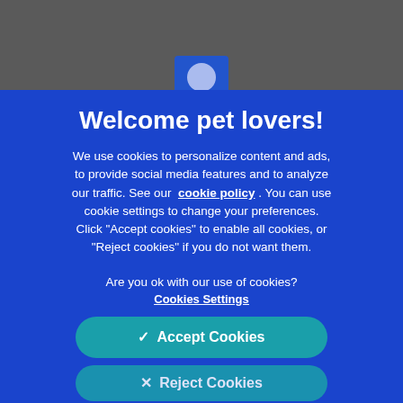[Figure (screenshot): Grey top bar with a logo placeholder (blue rectangle with circular icon)]
Welcome pet lovers!
We use cookies to personalize content and ads, to provide social media features and to analyze our traffic. See our cookie policy. You can use cookie settings to change your preferences. Click "Accept cookies" to enable all cookies, or "Reject cookies" if you do not want them.
Are you ok with our use of cookies?
Cookies Settings
✓  Accept Cookies
✕  Reject Cookies